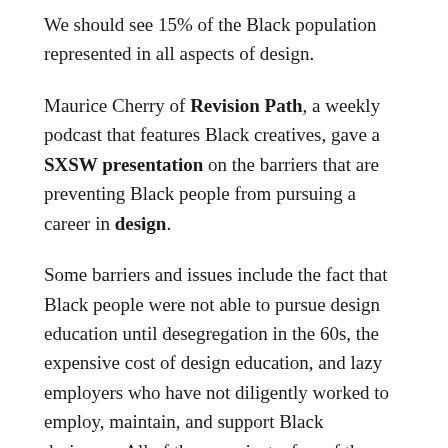We should see 15% of the Black population represented in all aspects of design.
Maurice Cherry of Revision Path, a weekly podcast that features Black creatives, gave a SXSW presentation on the barriers that are preventing Black people from pursuing a career in design.
Some barriers and issues include the fact that Black people were not able to pursue design education until desegregation in the 60s, the expensive cost of design education, and lazy employers who have not diligently worked to employ, maintain, and support Black designers. All of these are just a few of the examples of how systemic racism is so deeply rooted, in a